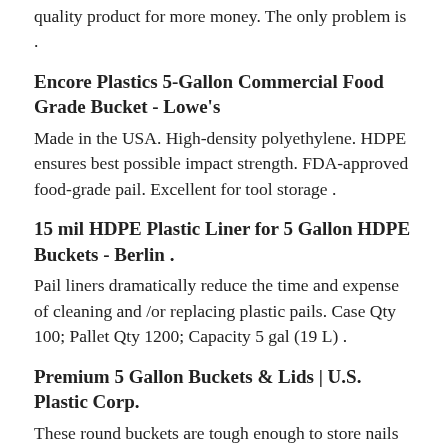quality product for more money. The only problem is .
Encore Plastics 5-Gallon Commercial Food Grade Bucket - Lowe's
Made in the USA. High-density polyethylene. HDPE ensures best possible impact strength. FDA-approved food-grade pail. Excellent for tool storage .
15 mil HDPE Plastic Liner for 5 Gallon HDPE Buckets - Berlin .
Pail liners dramatically reduce the time and expense of cleaning and /or replacing plastic pails. Case Qty 100; Pallet Qty 1200; Capacity 5 gal (19 L) .
Premium 5 Gallon Buckets & Lids | U.S. Plastic Corp.
These round buckets are tough enough to store nails and secure enough to protect contents. . Weight capacity: 70 lbs. per bucket (stack up to 6 high) .